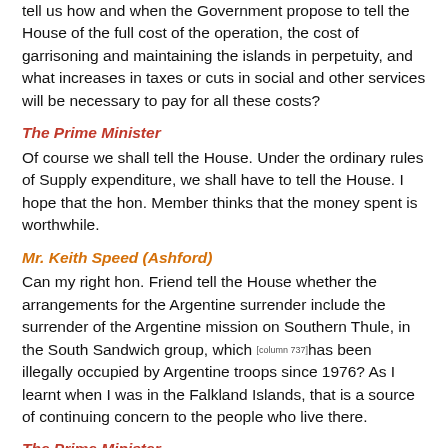tell us how and when the Government propose to tell the House of the full cost of the operation, the cost of garrisoning and maintaining the islands in perpetuity, and what increases in taxes or cuts in social and other services will be necessary to pay for all these costs?
The Prime Minister
Of course we shall tell the House. Under the ordinary rules of Supply expenditure, we shall have to tell the House. I hope that the hon. Member thinks that the money spent is worthwhile.
Mr. Keith Speed (Ashford)
Can my right hon. Friend tell the House whether the arrangements for the Argentine surrender include the surrender of the Argentine mission on Southern Thule, in the South Sandwich group, which [column 737] has been illegally occupied by Argentine troops since 1976? As I learnt when I was in the Falkland Islands, that is a source of continuing concern to the people who live there.
The Prime Minister